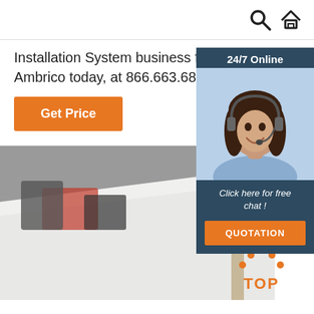Search | Home
Installation System business for nearly 50 years. Call Ambrico today, at 866.663.6898, for your ...
Get Price
[Figure (photo): Chat widget with agent photo, '24/7 Online' label, 'Click here for free chat!' text, and QUOTATION button]
[Figure (photo): Industrial/warehouse photo showing white roofing or fabric being unrolled with equipment and vehicles in background]
[Figure (logo): Orange 'TOP' logo with dots forming a house/arrow shape pointing upward]